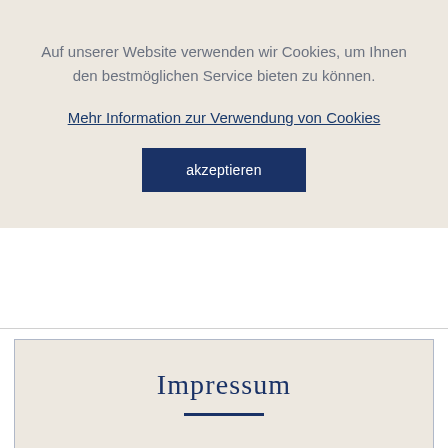Auf unserer Website verwenden wir Cookies, um Ihnen den bestmöglichen Service bieten zu können.
Mehr Information zur Verwendung von Cookies
akzeptieren
Impressum